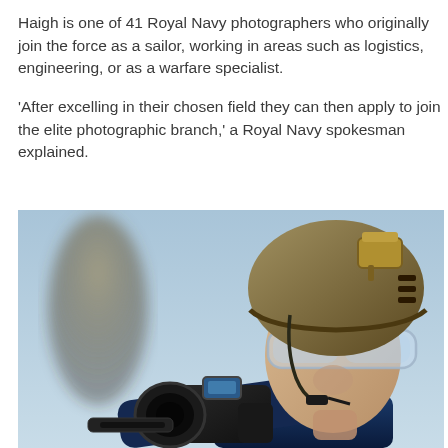Haigh is one of 41 Royal Navy photographers who originally join the force as a sailor, working in areas such as logistics, engineering, or as a warfare specialist.
'After excelling in their chosen field they can then apply to join the elite photographic branch,' a Royal Navy spokesman explained.
[Figure (photo): A Royal Navy photographer wearing a tan tactical helmet with a camera mount, protective goggles, and holding a camera/weapon system. The soldier is looking upward against a blue sky background. A blurred figure is visible in the background to the left.]